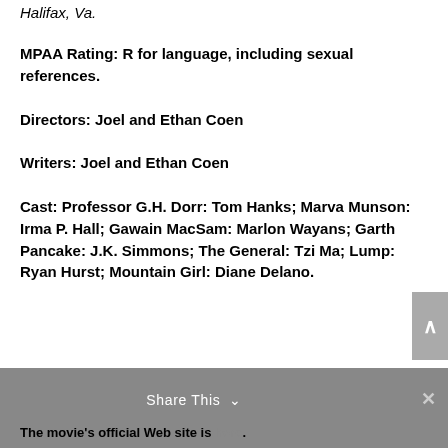Halifax, Va.
MPAA Rating: R for language, including sexual references.
Directors: Joel and Ethan Coen
Writers: Joel and Ethan Coen
Cast: Professor G.H. Dorr: Tom Hanks; Marva Munson: Irma P. Hall; Gawain MacSam: Marlon Wayans; Garth Pancake: J.K. Simmons; The General: Tzi Ma; Lump: Ryan Hurst; Mountain Girl: Diane Delano.
Share This  ×  The movie's official Web site is here.